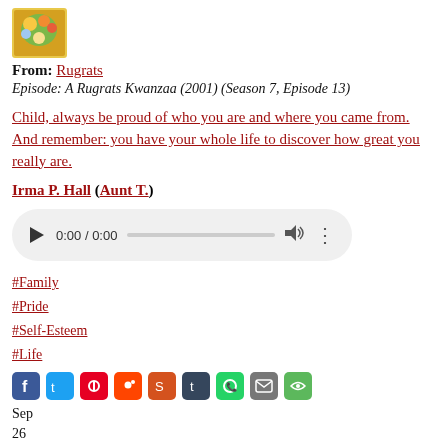[Figure (photo): Rugrats cartoon logo image, colorful cartoon characters]
From: Rugrats
Episode: A Rugrats Kwanzaa (2001) (Season 7, Episode 13)
Child, always be proud of who you are and where you came from. And remember: you have your whole life to discover how great you really are.
Irma P. Hall (Aunt T.)
[Figure (other): Audio player widget showing 0:00 / 0:00]
#Family
#Pride
#Self-Esteem
#Life
[Figure (other): Social media share icons: Facebook, Twitter, Pinterest, Reddit, StumbleUpon, Tumblr, WhatsApp, Email, ShareThis]
Sep
26
2019
Nothing to prove